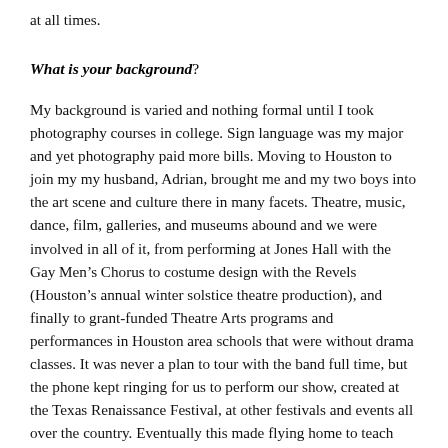at all times.
What is your background?
My background is varied and nothing formal until I took photography courses in college. Sign language was my major and yet photography paid more bills. Moving to Houston to join my my husband, Adrian, brought me and my two boys into the art scene and culture there in many facets. Theatre, music, dance, film, galleries, and museums abound and we were involved in all of it, from performing at Jones Hall with the Gay Men's Chorus to costume design with the Revels (Houston's annual winter solstice theatre production), and finally to grant-funded Theatre Arts programs and performances in Houston area schools that were without drama classes. It was never a plan to tour with the band full time, but the phone kept ringing for us to perform our show, created at the Texas Renaissance Festival, at other festivals and events all over the country. Eventually this made flying home to teach